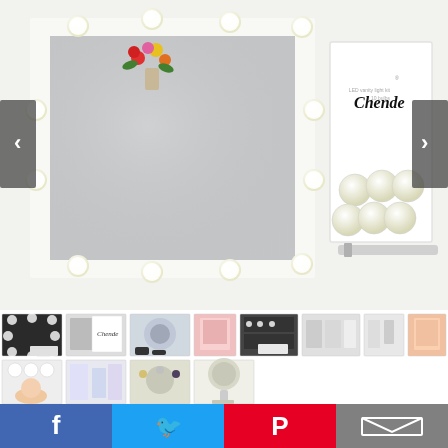[Figure (photo): Main product photo showing a Hollywood vanity mirror with LED bulbs around its white frame, flowers reflected inside, with a Chende branded white product box and loose LED bulbs on the right side. Navigation arrows on left and right sides.]
[Figure (photo): Grid of product thumbnail images showing various vanity mirror and LED light kit product variations.]
[Figure (infographic): Social sharing bar with Facebook, Twitter, Pinterest, and email icons at the bottom of the page.]